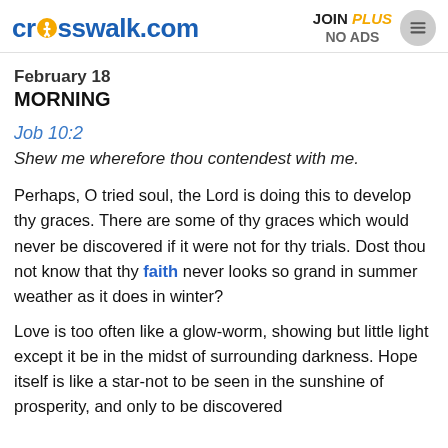crosswalk.com | JOIN PLUS NO ADS
February 18
MORNING
Job 10:2
Shew me wherefore thou contendest with me.
Perhaps, O tried soul, the Lord is doing this to develop thy graces. There are some of thy graces which would never be discovered if it were not for thy trials. Dost thou not know that thy faith never looks so grand in summer weather as it does in winter?
Love is too often like a glow-worm, showing but little light except it be in the midst of surrounding darkness. Hope itself is like a star-not to be seen in the sunshine of prosperity, and only to be discovered